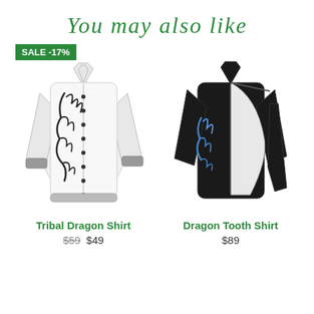You may also like
[Figure (photo): White long-sleeve dress shirt with black tribal dragon print and gray cuffs. Sale badge showing SALE -17%.]
[Figure (photo): Black long-sleeve shirt with white cutout panel and blue dragon print on the sleeve. No badge.]
Tribal Dragon Shirt
$59 $49
Dragon Tooth Shirt
$89